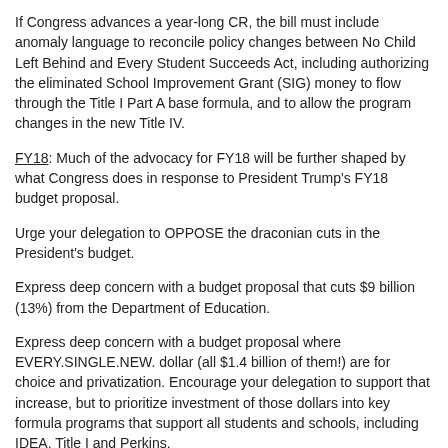If Congress advances a year-long CR, the bill must include anomaly language to reconcile policy changes between No Child Left Behind and Every Student Succeeds Act, including authorizing the eliminated School Improvement Grant (SIG) money to flow through the Title I Part A base formula, and to allow the program changes in the new Title IV.
FY18: Much of the advocacy for FY18 will be further shaped by what Congress does in response to President Trump's FY18 budget proposal.
Urge your delegation to OPPOSE the draconian cuts in the President's budget.
Express deep concern with a budget proposal that cuts $9 billion (13%) from the Department of Education.
Express deep concern with a budget proposal where EVERY.SINGLE.NEW. dollar (all $1.4 billion of them!) are for choice and privatization. Encourage your delegation to support that increase, but to prioritize investment of those dollars into key formula programs that support all students and schools, including IDEA, Title I and Perkins.